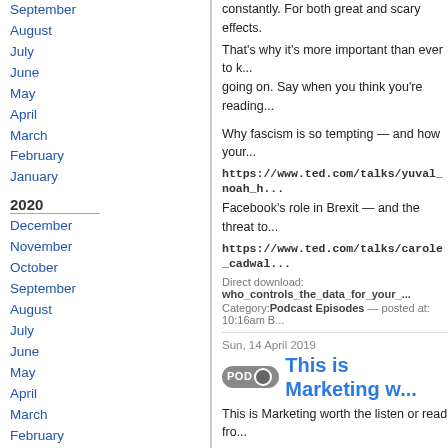September
August
July
June
May
April
March
February
January
2020
December
November
October
September
August
July
June
May
April
March
February
January
2019
December
November
October
September
August
July
June
May
constantly. For both great and scary effects.
That's why it's more important than ever to know what's going on. Say when you think you're reading...
Why fascism is so tempting — and how your data could power it
https://www.ted.com/talks/yuval_noah_h...
Facebook's role in Brexit — and the threat to democracy
https://www.ted.com/talks/carole_cadwal...
Direct download: who_controls_the_data_for_your...
Category: Podcast Episodes — posted at: 10:16am B...
Sun, 14 April 2019
This is Marketing w...
This is Marketing worth the listen or read fro...
This episode is a tribute to Seth Godin, and ... Learn to See
IF you only read one book this year I recomm...
It applies to so much beyond marketing.
Ric share's some of his thoughts on Seth Qu...
My product is for people who believe...
I will focus on people who want...
I promise that engaging with what I...
You're listening to episode 365 of this podcast... I surely was a slow learner facing so many...